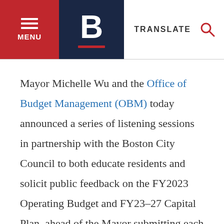MENU | B | TRANSLATE
Mayor Michelle Wu and the Office of Budget Management (OBM) today announced a series of listening sessions in partnership with the Boston City Council to both educate residents and solicit public feedback on the FY2023 Operating Budget and FY23-27 Capital Plan, ahead of the Mayor submitting each to the City Council. At the sessions, OBM will outline